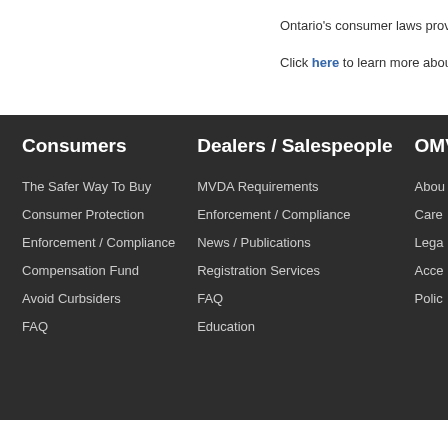Ontario's consumer laws provid
Click here to learn more about y
Consumers
The Safer Way To Buy
Consumer Protection
Enforcement / Compliance
Compensation Fund
Avoid Curbsiders
FAQ
Dealers / Salespeople
MVDA Requirements
Enforcement / Compliance
News / Publications
Registration Services
FAQ
Education
OMV
Abou
Care
Lega
Acce
Polic